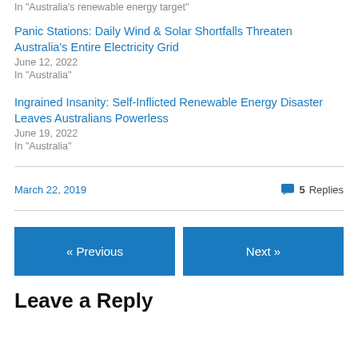In "Australia's renewable energy target"
Panic Stations: Daily Wind & Solar Shortfalls Threaten Australia's Entire Electricity Grid
June 12, 2022
In "Australia"
Ingrained Insanity: Self-Inflicted Renewable Energy Disaster Leaves Australians Powerless
June 19, 2022
In "Australia"
March 22, 2019
5 Replies
« Previous
Next »
Leave a Reply